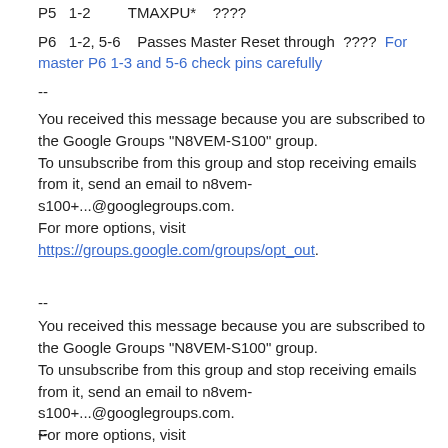P5   1-2         TMAXPU*    ????
P6   1-2, 5-6    Passes Master Reset through  ????  For master P6 1-3 and 5-6 check pins carefully
--
You received this message because you are subscribed to the Google Groups "N8VEM-S100" group.
To unsubscribe from this group and stop receiving emails from it, send an email to n8vem-s100+...@googlegroups.com.
For more options, visit https://groups.google.com/groups/opt_out.
--
You received this message because you are subscribed to the Google Groups "N8VEM-S100" group.
To unsubscribe from this group and stop receiving emails from it, send an email to n8vem-s100+...@googlegroups.com.
For more options, visit https://groups.google.com/groups/opt_out.
--